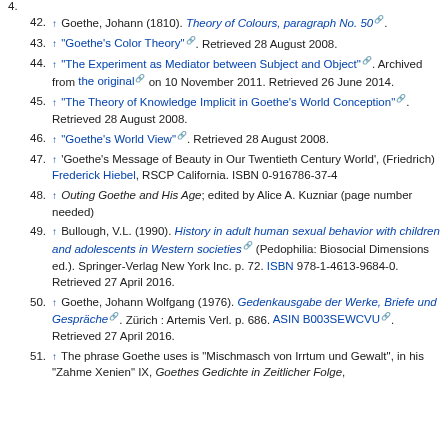4.
42. ↑ Goethe, Johann (1810). Theory of Colours, paragraph No. 50.
43. ↑ "Goethe's Color Theory". Retrieved 28 August 2008.
44. ↑ "The Experiment as Mediator between Subject and Object". Archived from the original on 10 November 2011. Retrieved 26 June 2014.
45. ↑ "The Theory of Knowledge Implicit in Goethe's World Conception". Retrieved 28 August 2008.
46. ↑ "Goethe's World View". Retrieved 28 August 2008.
47. ↑ 'Goethe's Message of Beauty in Our Twentieth Century World', (Friedrich) Frederick Hiebel, RSCP California. ISBN 0-916786-37-4
48. ↑ Outing Goethe and His Age; edited by Alice A. Kuzniar (page number needed)
49. ↑ Bullough, V.L. (1990). History in adult human sexual behavior with children and adolescents in Western societies (Pedophilia: Biosocial Dimensions ed.). Springer-Verlag New York Inc. p. 72. ISBN 978-1-4613-9684-0. Retrieved 27 April 2016.
50. ↑ Goethe, Johann Wolfgang (1976). Gedenkausgabe der Werke, Briefe und Gespräche. Zürich : Artemis Verl. p. 686. ASIN B003SEWCVU. Retrieved 27 April 2016.
51. ↑ The phrase Goethe uses is "Mischmasch von Irrtum und Gewalt", in his "Zahme Xenien" IX, Goethes Gedichte in Zeitlicher Folge,